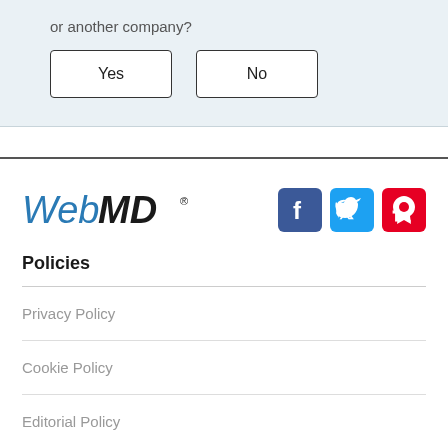or another company?
Yes
No
[Figure (logo): WebMD logo in blue and black italic text]
[Figure (infographic): Social media icons: Facebook (blue), Twitter (light blue), Pinterest (red)]
Policies
Privacy Policy
Cookie Policy
Editorial Policy